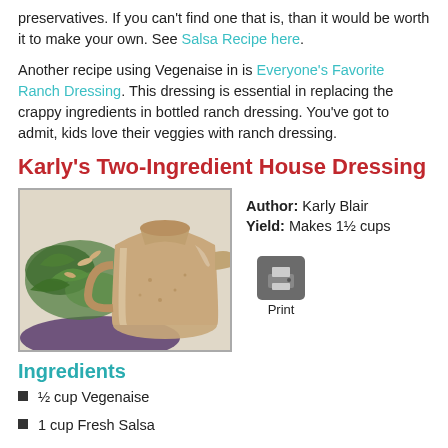preservatives. If you can't find one that is, than it would be worth it to make your own. See Salsa Recipe here.
Another recipe using Vegenaise in is Everyone's Favorite Ranch Dressing. This dressing is essential in replacing the crappy ingredients in bottled ranch dressing. You've got to admit, kids love their veggies with ranch dressing.
Karly's Two-Ingredient House Dressing
[Figure (photo): A glass pitcher filled with creamy tan/beige dressing, with green salad greens and nuts visible in background on a purple plate]
Author: Karly Blair
Yield: Makes 1½ cups
Ingredients
½ cup Vegenaise
1 cup Fresh Salsa